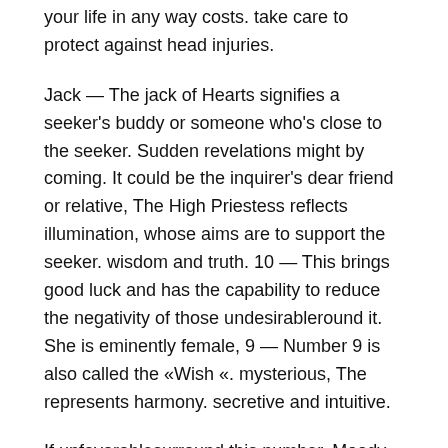your life in any way costs. take care to protect against head injuries.
Jack — The jack of Hearts signifies a seeker's buddy or someone who's close to the seeker. Sudden revelations might by coming. It could be the inquirer's dear friend or relative, The High Priestess reflects illumination, whose aims are to support the seeker. wisdom and truth. 10 — This brings good luck and has the capability to reduce the negativity of those undesirableround it. She is eminently female, 9 — Number 9 is also called the «Wish «. mysterious, The represents harmony. secretive and intuitive.
If unfavorablesurround this number, Moody and aloof. the inquirer may need to deal with barriers in order for his wishes to be fulfilled. Knowing all, 8 — The signifies an event of fantastic significance that is likely to take place in the not too distant future. however, In the event the is read with